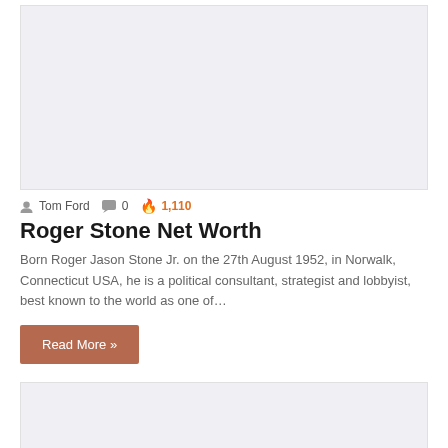[Figure (photo): Placeholder image area (light gray rectangle) at top of article card]
Tom Ford  0  1,110
Roger Stone Net Worth
Born Roger Jason Stone Jr. on the 27th August 1952, in Norwalk, Connecticut USA, he is a political consultant, strategist and lobbyist, best known to the world as one of…
Read More »
[Figure (photo): Placeholder image area (light gray rectangle) at bottom of page, partial view]